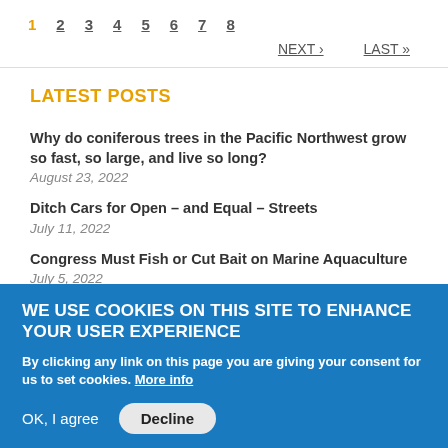1  2  3  4  5  6  7  8  NEXT ›  LAST »
LATEST POSTS
Why do coniferous trees in the Pacific Northwest grow so fast, so large, and live so long?
August 23, 2022
Ditch Cars for Open – and Equal – Streets
July 11, 2022
Congress Must Fish or Cut Bait on Marine Aquaculture
July 5, 2022
WE USE COOKIES ON THIS SITE TO ENHANCE YOUR USER EXPERIENCE
By clicking any link on this page you are giving your consent for us to set cookies. More info
OK, I agree  Decline